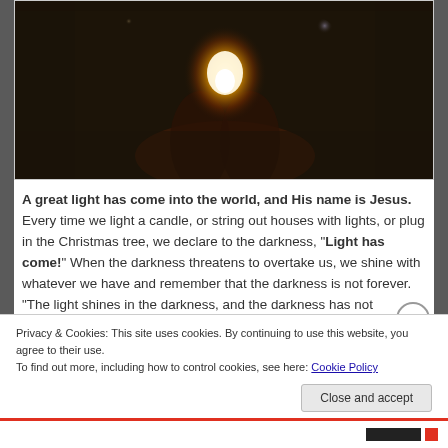[Figure (photo): Dark background photo of hands holding a bright flame or burning fire, with bokeh light effects]
A great light has come into the world, and His name is Jesus. Every time we light a candle, or string out houses with lights, or plug in the Christmas tree, we declare to the darkness, "Light has come!" When the darkness threatens to overtake us, we shine with whatever we have and remember that the darkness is not forever. "The light shines in the darkness, and the darkness has not overcome it." ( John 1:5)
Privacy & Cookies: This site uses cookies. By continuing to use this website, you agree to their use.
To find out more, including how to control cookies, see here: Cookie Policy
Close and accept